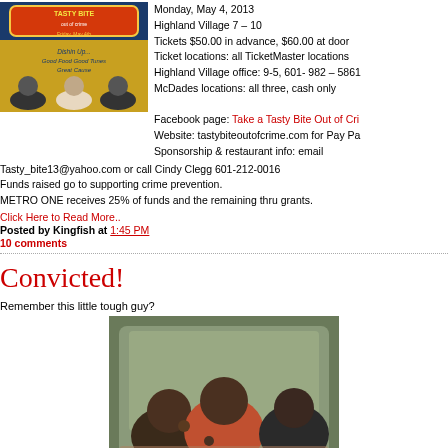[Figure (photo): Tasty Bite event promotional poster with three men and event details]
Monday, May 4, 2013
Highland Village 7 – 10
Tickets $50.00 in advance, $60.00 at door
Ticket locations: all TicketMaster locations
Highland Village office: 9-5, 601- 982 – 5861
McDades locations: all three, cash only

Facebook page: Take a Tasty Bite Out of Cri...
Website: tastybiteoutofcrime.com for Pay Pa...
Sponsorship & restaurant info: email
Tasty_bite13@yahoo.com or call Cindy Clegg 601-212-0016
Funds raised go to supporting crime prevention.
METRO ONE receives 25% of funds and the remaining thru grants.
Click Here to Read More..
Posted by Kingfish at 1:45 PM
10 comments
Convicted!
Remember this little tough guy?
[Figure (photo): Photo of young men in a car, making gestures]